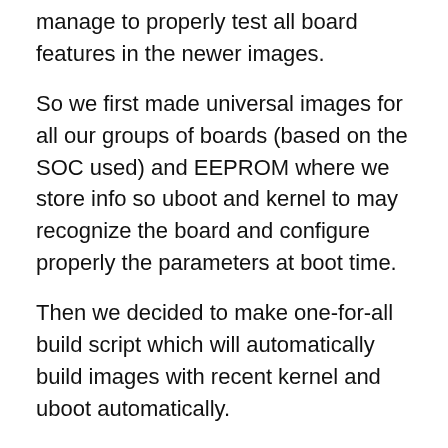manage to properly test all board features in the newer images.
So we first made universal images for all our groups of boards (based on the SOC used) and EEPROM where we store info so uboot and kernel to may recognize the board and configure properly the parameters at boot time.
Then we decided to make one-for-all build script which will automatically build images with recent kernel and uboot automatically.
We had to leave Armbian as we wanted things to be more under our control and decision. Also we wanted everything to be 100% tested when released. Armbian official builds are not tested at hardware level other than to see board boots, so many boards are with peripheral conflicts and we had to apply our patched on Armbian anyway to adjust